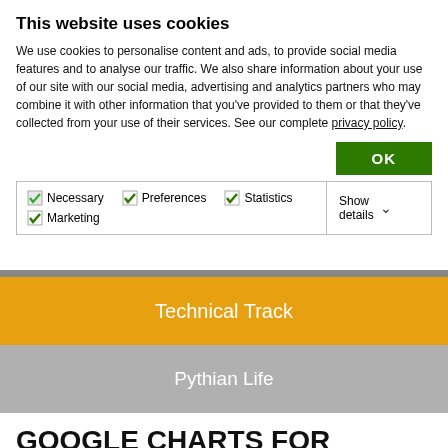This website uses cookies
We use cookies to personalise content and ads, to provide social media features and to analyse our traffic. We also share information about your use of our site with our social media, advertising and analytics partners who may combine it with other information that you've provided to them or that they've collected from your use of their services. See our complete privacy policy.
OK
Necessary  Preferences  Statistics  Marketing  Show details
Technical Track
Pythian Life
GOOGLE CHARTS FOR DBA: TABLESPACES